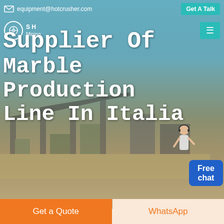equipment@hotcrusher.com   Get A Talk
[Figure (screenshot): Industrial mining/crushing plant facility with conveyor belts and machinery, blue sky background, serving as hero image background]
Supplier Of Marble Production Line In Italia
Free chat
Home / Products
Different Machines To Meet All
Get a Quote
WhatsApp